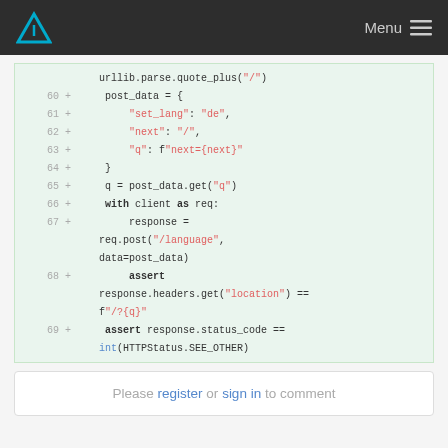Menu
[Figure (screenshot): Code diff snippet showing Python test code lines 60-69 with added lines (marked with +) on green background. Shows post_data dict construction with set_lang, next, q keys, then with client as req block sending POST to /language and asserting response headers location and status code.]
Please register or sign in to comment